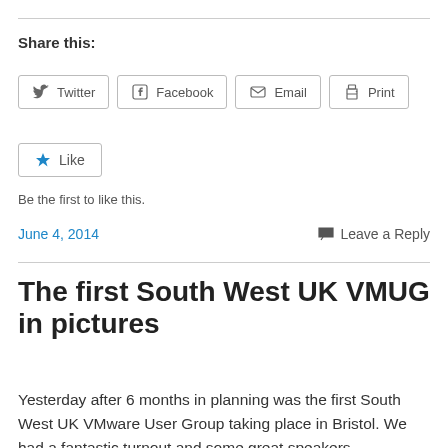Share this:
Twitter  Facebook  Email  Print
Like
Be the first to like this.
June 4, 2014
Leave a Reply
The first South West UK VMUG in pictures
Yesterday after 6 months in planning was the first South West UK VMware User Group taking place in Bristol. We had a fantastic turnout and some great speakers.